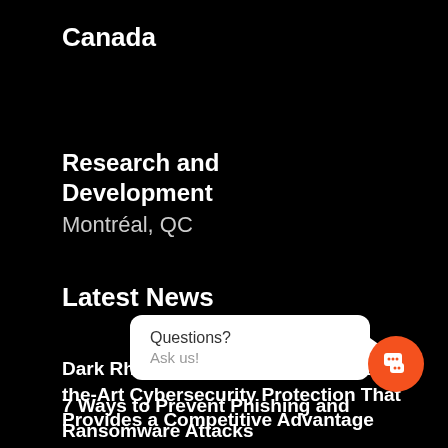Canada
Research and Development
Montréal, QC
Latest News
Dark Rhino Security Delivers State-of-the-Art Cybersecurity Protection That Provides a Competitive Advantage
[Figure (other): Chat widget with speech bubble saying 'Questions? Ask us!' and an orange circular chat button with speech bubble icon]
7 Ways to Prevent Phishing and Ransomware Attacks